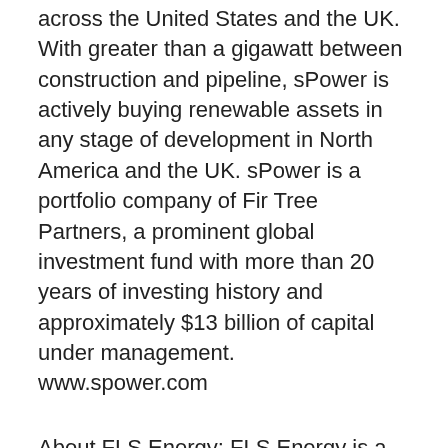across the United States and the UK. With greater than a gigawatt between construction and pipeline, sPower is actively buying renewable assets in any stage of development in North America and the UK. sPower is a portfolio company of Fir Tree Partners, a prominent global investment fund with more than 20 years of investing history and approximately $13 billion of capital under management. www.spower.com
About FLS Energy: FLS Energy is a full service solar energy provider that owns and operates a portfolio of solar energy assets throughout the U.S. The FLS development team takes projects from conception to commissioning and offers complete in-house system design, engineering, construction, financing